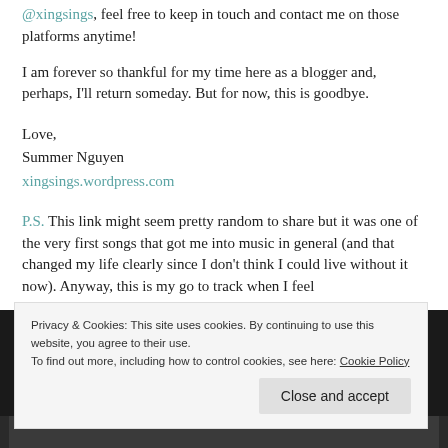contact me on those platforms anytime!
I am forever so thankful for my time here as a blogger and, perhaps, I'll return someday. But for now, this is goodbye.
Love,
Summer Nguyen
xingsings.wordpress.com
P.S. This link might seem pretty random to share but it was one of the very first songs that got me into music in general (and that changed my life clearly since I don't think I could live without it now). Anyway, this is my go to track when I feel
Privacy & Cookies: This site uses cookies. By continuing to use this website, you agree to their use.
To find out more, including how to control cookies, see here: Cookie Policy
Close and accept